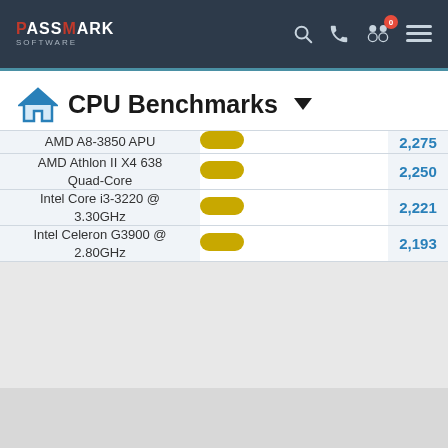PassMark Software — CPU Benchmarks
CPU Benchmarks
| CPU | Bar | Score |
| --- | --- | --- |
| AMD A8-3850 APU |  | 2,275 |
| AMD Athlon II X4 638 Quad-Core |  | 2,250 |
| Intel Core i3-3220 @ 3.30GHz |  | 2,221 |
| Intel Celeron G3900 @ 2.80GHz |  | 2,193 |